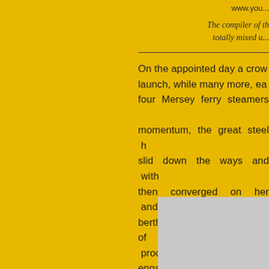www.you...
The compiler of th... totally mixed u...
On the appointed day a crow... launch, while many more, ea... four Mersey ferry steamers ... momentum, the great steel h... slid down the ways and with... then converged on her and ... berthed in Cammell Laird's w... of the MAURETANIA proceed... engaged on the ship. Progr... Cunard - White Star Compar... maiden voyage would leave L...
[Figure (photo): Partial photo visible at bottom right, grey/light colored image partially cropped]